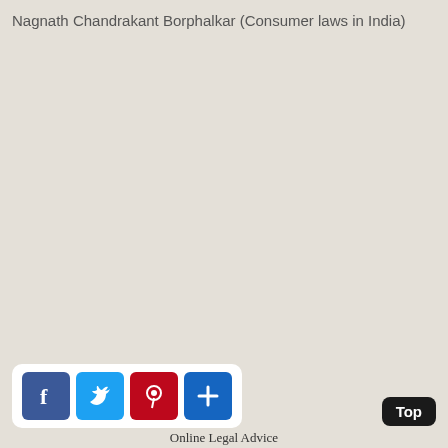Nagnath Chandrakant Borphalkar (Consumer laws in India)
[Figure (screenshot): Social media share buttons: Facebook, Twitter, Pinterest, and a generic share button, displayed in a white rounded box at the bottom left of the page]
Online Legal Advice